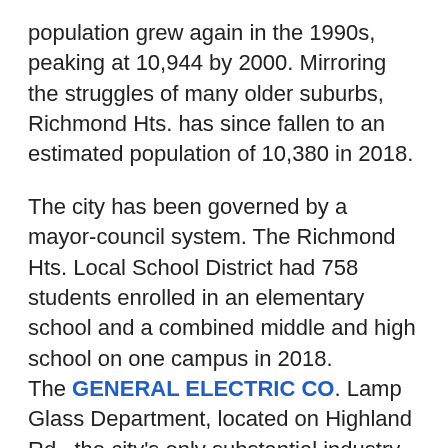population grew again in the 1990s, peaking at 10,944 by 2000. Mirroring the struggles of many older suburbs, Richmond Hts. has since fallen to an estimated population of 10,380 in 2018.
The city has been governed by a mayor-council system. The Richmond Hts. Local School District had 758 students enrolled in an elementary school and a combined middle and high school on one campus in 2018. The GENERAL ELECTRIC CO. Lamp Glass Department, located on Highland Rd., the city's only substantial industry, closed in 1990. The facility later became OMNI Systems, a commercial label printer. Richmond Hts. is primarily residential, with the RICHMOND HTS.